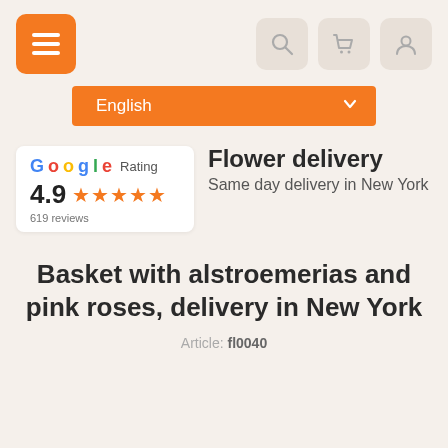[Figure (screenshot): Navigation bar with orange hamburger menu button on left and three icon buttons (search, cart, user) on right on a beige background]
[Figure (screenshot): Language selector dropdown showing 'English' with orange background and chevron]
[Figure (infographic): Google Rating box showing 4.9 stars and 619 reviews next to Flower delivery heading with Same day delivery in New York subtitle]
Basket with alstroemerias and pink roses, delivery in New York
Article: fl0040